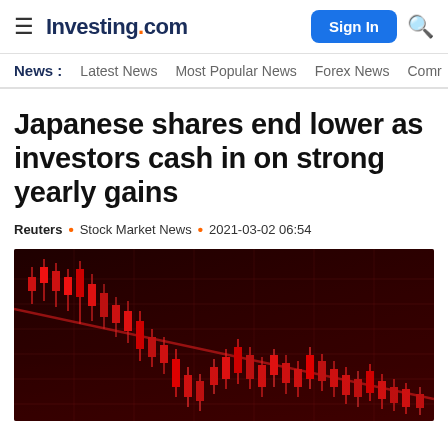Investing.com  Sign In
News :  Latest News · Most Popular News · Forex News · Comr
Japanese shares end lower as investors cash in on strong yearly gains
Reuters · Stock Market News · 2021-03-02 06:54
[Figure (photo): Red candlestick stock market chart showing declining Japanese shares with red candlestick patterns on a dark red background with grid lines]